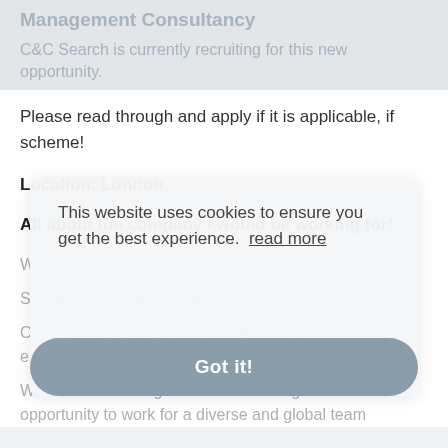Management Consultancy
C&C Search is currently recruiting for this new opportunity.
Please read through and apply if it is applicable, if scheme!
Location: London
All about the company I would be working for!
What they do: Management Consultancy
Size of the business: Global
Company culture: diverse, collaborative, empowering
What makes them great to work for: A great opportunity to work for a diverse and global team
This website uses cookies to ensure you get the best experience.  read more
Got it!